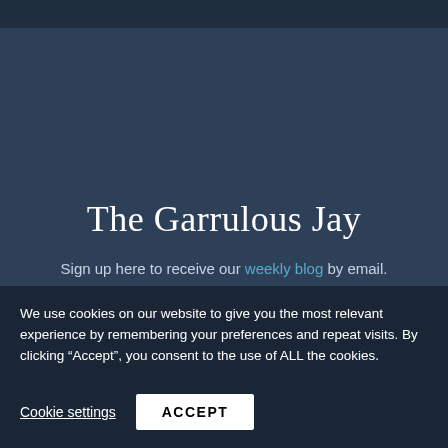The Garrulous Jay
Sign up here to receive our weekly blog by email.
* indicates required
Email Address *
We use cookies on our website to give you the most relevant experience by remembering your preferences and repeat visits. By clicking “Accept”, you consent to the use of ALL the cookies.
Cookie settings
ACCEPT